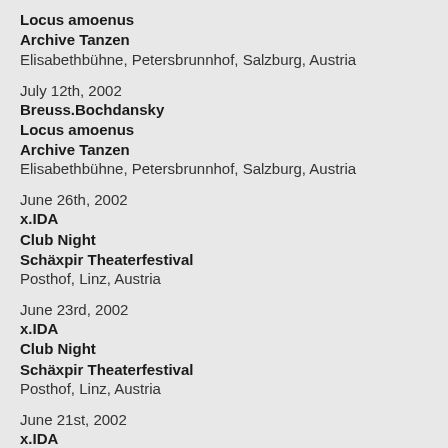Locus amoenus
Archive Tanzen
Elisabethbühne, Petersbrunnhof, Salzburg, Austria
July 12th, 2002
Breuss.Bochdansky
Locus amoenus
Archive Tanzen
Elisabethbühne, Petersbrunnhof, Salzburg, Austria
June 26th, 2002
x.IDA
Club Night
Schäxpir Theaterfestival
Posthof, Linz, Austria
June 23rd, 2002
x.IDA
Club Night
Schäxpir Theaterfestival
Posthof, Linz, Austria
June 21st, 2002
x.IDA